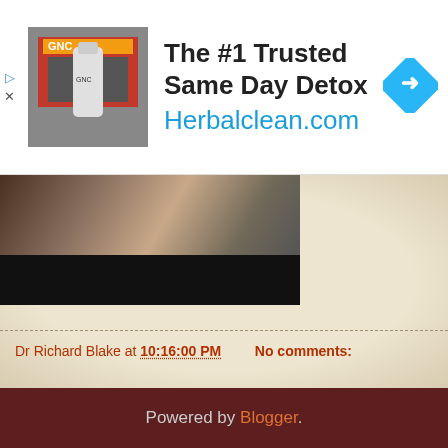[Figure (screenshot): Advertisement banner: GNC store photo on left, text 'The #1 Trusted Same Day Detox Herbalclean.com' in center, blue diamond arrow icon on right]
[Figure (photo): Video thumbnail showing hands on a dark red table surface, black letterbox area below]
Dr Richard Blake at 10:16:00 PM   No comments:
Share
< Home >
View web version
Powered by Blogger.